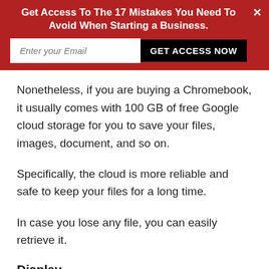[Figure (infographic): Red banner with call-to-action: 'Get Access To The 17 Mistakes You Need To Avoid When Starting a Business.' with an email input field and 'GET ACCESS NOW' button, and a close X.]
Nonetheless, if you are buying a Chromebook, it usually comes with 100 GB of free Google cloud storage for you to save your files, images, document, and so on.
Specifically, the cloud is more reliable and safe to keep your files for a long time.
In case you lose any file, you can easily retrieve it.
Display